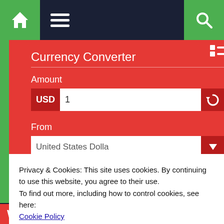[Figure (screenshot): Website navigation bar with home icon (green), hamburger menu, and search icon (green) on dark navy background]
Currency Converter
Amount
USD  1
From
United States Dolla
To
Euro - EUR
Results
Privacy & Cookies: This site uses cookies. By continuing to use this website, you agree to their use.
To find out more, including how to control cookies, see here:
Cookie Policy
Close and accept
WEATHER FORECAST